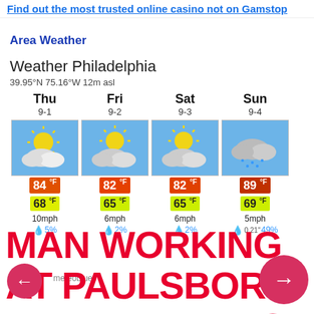Find out the most trusted online casino not on Gamstop
Area Weather
Weather Philadelphia
39.95°N 75.16°W 12m asl
[Figure (infographic): 4-day weather forecast for Philadelphia showing Thu 9-1, Fri 9-2, Sat 9-3, Sun 9-4 with weather icons, high/low temperatures and precipitation chances. Highs: 84°F, 82°F, 82°F, 89°F. Lows: 68°F, 65°F, 65°F, 69°F. Wind: 10mph, 6mph, 6mph, 5mph. Rain: 5%, 2%, 2%, 49%]
MAN WORKING AT PAULSBORO REFINERY DIES IN SANDBLASTING ACCIDENT | cnbnews.net